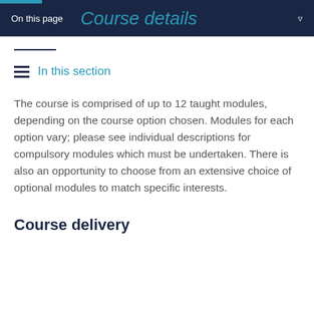On this page  Course details
In this section
The course is comprised of up to 12 taught modules, depending on the course option chosen. Modules for each option vary; please see individual descriptions for compulsory modules which must be undertaken. There is also an opportunity to choose from an extensive choice of optional modules to match specific interests.
Course delivery